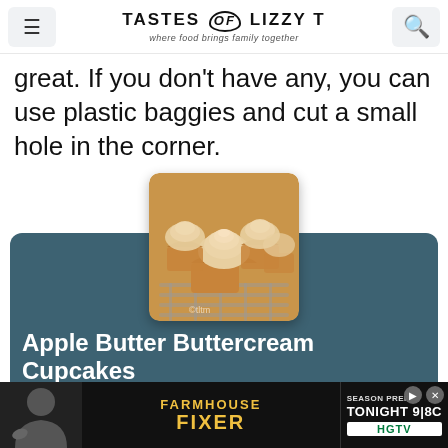TASTES of LIZZY T — where food brings family together
great. If you don't have any, you can use plastic baggies and cut a small hole in the corner.
[Figure (photo): Photo of Apple Butter Buttercream Cupcakes with swirled frosting on a cooling rack]
Apple Butter Buttercream Cupcakes
★★★★★ 4.75 from 4 votes
These Apple Butter Buttercream Cupcakes are a si... crea... ll
[Figure (photo): Advertisement banner: Farmhouse Fixer Season Premiere Tonight 9|8C on HGTV]